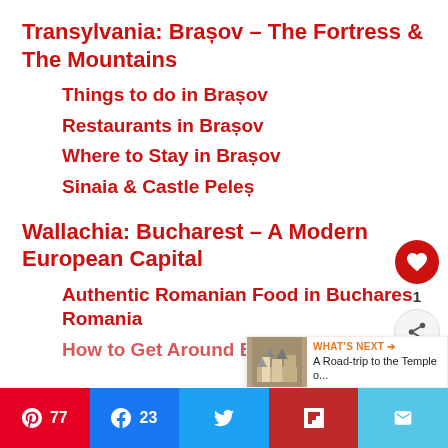Transylvania: Brașov – The Fortress & The Mountains
Things to do in Brașov
Restaurants in Brașov
Where to Stay in Brașov
Sinaia & Castle Peleș
Wallachia: Bucharest – A Modern European Capital
Authentic Romanian Food in Bucharest Romania
How to Get Around Bucharest